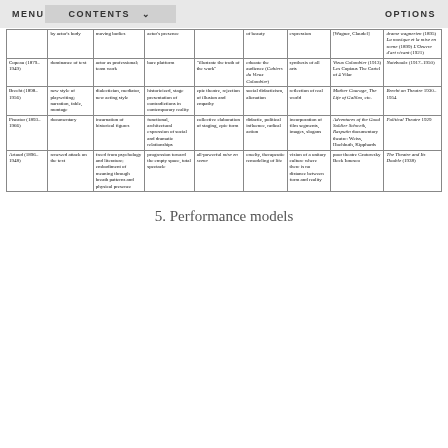MENU   CONTENTS   OPTIONS
|  |  |  |  |  |  |  |  |  |
| --- | --- | --- | --- | --- | --- | --- | --- | --- |
|  | by actor's body | moving bodies | actor's presence |  | of beauty | expression | [Wagner, Claudel] | drame wagnerien (1895) La musique et la mise en scene (1899) L'Oeuvre d'art vivant (1921) |
| Copeau (1879–1949) | dominance of text | actor as professional; team work | bare platform | "illustrate the truth of the work" | educate the audience (Cahiers du Vieux Colombier) | synthesis of all arts | Vieux Colombier (1913) Les Copiaus The Cartel of 4 Vilar | Notebooks (1917–1950) |
| Brecht (1898–1956) | new style of playwriting; narration, fable, montage | dialectician, mediator, new acting style | historicized, stage presentation of contradictions in contemporary reality | epic theatre, rejection of illusion and empathy | social didacticism, alienation | reflection of real world | Mother Courage, The Life of Galileo, etc. | Brecht on Theatre 1930–1954 |
| Piscator (1893–1966) | documentary | incarnation of historical figures | functional, architectural expression of social and dramatic relationships | collective elaboration of staging, epic form | didactic, political influence, radical action | incorporation of film segments, images, slogans | Adventures of the Good Soldier Schweik, Rasputin documentary theatre: Weiss, Hochhuth, Kipphards | Political Theatre 1929 |
| Artaud (1896–1948) | renewed attack on the text | freed from psychology and literature; embodiment of meaning through breath patterns and physical presence | progression toward the empty space, total spectacle | all-powerful mise en scene | cruelty, therapeutic remodeling of life | vision of a unitary culture where there is no distance between form and reality | poor theatre Grotowsky Beck Ionesco | The Theatre and Its Double (1938) |
5. Performance models